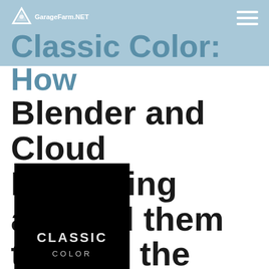GarageFarm.NET
Classic Color: How Blender and Cloud Rendering allowed them to be in the pink of condition
[Figure (other): Black background image with text 'CLASSIC COLOR' displayed in white/gray uppercase monospace-style letters on a dark background, appearing to be a logo or title card for the 'Classic Color' project.]